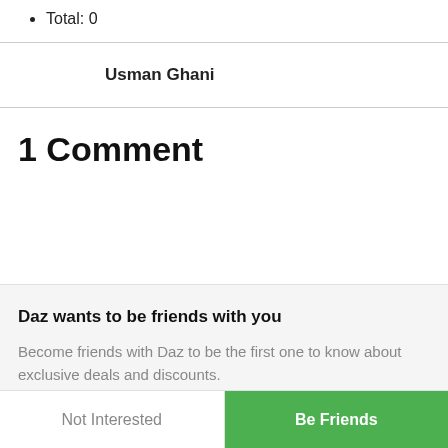Total: 0
Usman Ghani
1 Comment
Daz wants to be friends with you
Become friends with Daz to be the first one to know about exclusive deals and discounts.
Not Interested
Be Friends